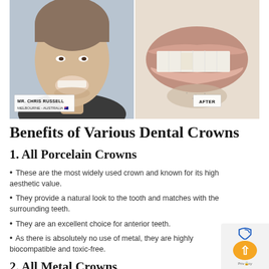[Figure (photo): Before and after dental photo showing Mr. Chris Russell from Melbourne, Australia. Left side shows before photo of man smiling, labeled 'MR. CHRIS RUSSELL / MELBOURNE - AUSTRALIA'. Right side shows close-up of teeth after dental crown treatment, labeled 'AFTER'.]
Benefits of Various Dental Crowns
1. All Porcelain Crowns
These are the most widely used crown and known for its high aesthetic value.
They provide a natural look to the tooth and matches with the surrounding teeth.
They are an excellent choice for anterior teeth.
As there is absolutely no use of metal, they are highly biocompatible and toxic-free.
2. All Metal Crowns